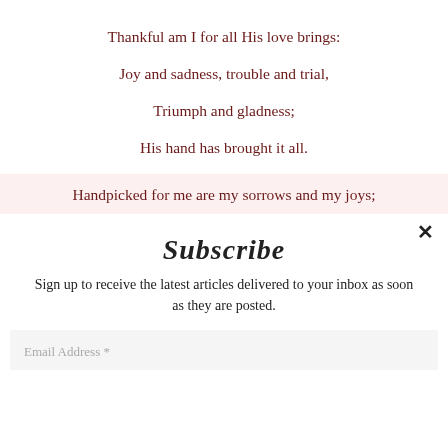Thankful am I for all His love brings:
Joy and sadness, trouble and trial,
Triumph and gladness;
His hand has brought it all.
Handpicked for me are my sorrows and my joys;
Subscribe
Sign up to receive the latest articles delivered to your inbox as soon as they are posted.
Email Address *